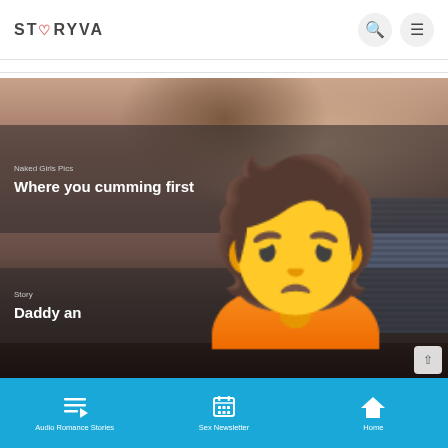STORYVA
[Figure (screenshot): Website screenshot of Storyva adult content platform showing a header with logo and navigation icons, a main content area with an adult image partially obscured by a censoring emoji, overlaid text 'Naked Girls Pics - Where you cumming first' and 'Story - Daddy an...' and a bottom navigation bar with Audio Romance Stories, Sex Newsletter, and Home links]
Audio Romance Stories   Sex Newsletter   Home